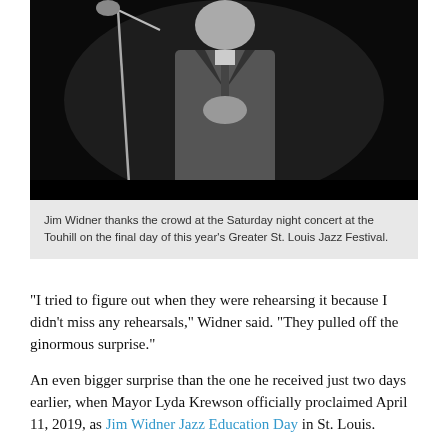[Figure (photo): Black and white photo of Jim Widner in a suit on stage, hands clasped, standing near a microphone stand]
Jim Widner thanks the crowd at the Saturday night concert at the Touhill on the final day of this year's Greater St. Louis Jazz Festival.
“I tried to figure out when they were rehearsing it because I didn’t miss any rehearsals,” Widner said. “They pulled off the ginormous surprise.”
An even bigger surprise than the one he received just two days earlier, when Mayor Lyda Krewson officially proclaimed April 11, 2019, as Jim Widner Jazz Education Day in St. Louis.